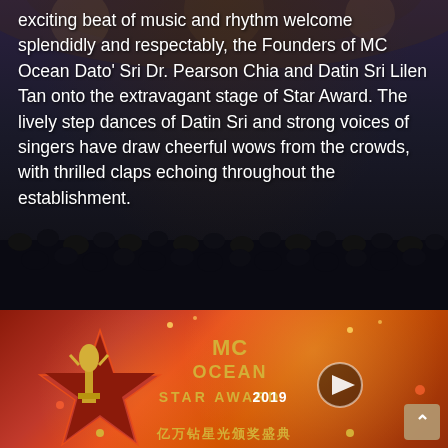exciting beat of music and rhythm welcome splendidly and respectably, the Founders of MC Ocean Dato' Sri Dr. Pearson Chia and Datin Sri Lilen Tan onto the extravagant stage of Star Award. The lively step dances of Datin Sri and strong voices of singers have draw cheerful wows from the crowds, with thrilled claps echoing throughout the establishment.
[Figure (photo): Dark background with crowd of audience seated in an auditorium, stage lighting visible at top, people visible as silhouettes in lower portion]
[Figure (screenshot): MC Ocean Star Award 2019 promotional video thumbnail with golden trophy statue on red star, golden Chinese characters text, MC Ocean Star Award 2019 logo, and a play button overlay]